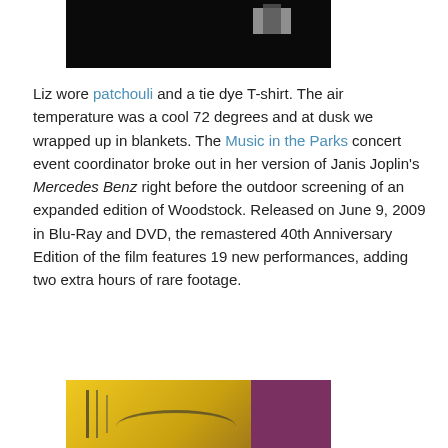[Figure (photo): A dark photograph showing a silhouetted figure and a bright screen or light source against a very dark background.]
Liz wore patchouli and a tie dye T-shirt. The air temperature was a cool 72 degrees and at dusk we wrapped up in blankets. The Music in the Parks concert event coordinator broke out in her version of Janis Joplin’s Mercedes Benz right before the outdoor screening of an expanded edition of Woodstock. Released on June 9, 2009 in Blu-Ray and DVD, the remastered 40th Anniversary Edition of the film features 19 new performances, adding two extra hours of rare footage.
[Figure (photo): A colorful photograph showing yellow, brown, and purple hues with structural elements, likely related to a festival or outdoor event.]